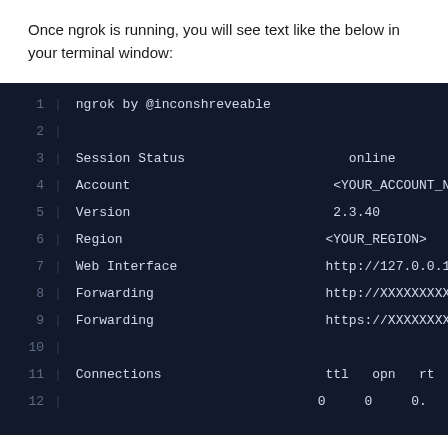Once ngrok is running, you will see text like the below in your terminal window:
[Figure (screenshot): Terminal window showing ngrok output with lines: 1: ngrok by @inconshreveable, 2: (blank), 3: Session Status online, 4: Account <YOUR_ACCOUNT_NAME>, 5: Version 2.3.40, 6: Region <YOUR_REGION>, 7: Web Interface http://127.0.0.1:4, 8: Forwarding http://XXXXXXXXXX, 9: Forwarding https://XXXXXXXXXX, 10: (blank), 11: Connections ttl opn rt, 12: 0 0 0.]
Copy one of the URLs next to Forwarding . You now have a temporary link to your application that anyone can